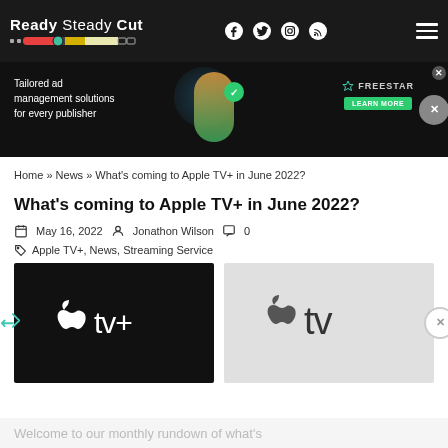Ready Steady Cut — navigation bar with logo and social icons
[Figure (screenshot): Advertisement banner: Tailored ad management solutions for every publisher — Freestar. Learn more button.]
Home » News » What's coming to Apple TV+ in June 2022?
What's coming to Apple TV+ in June 2022?
May 16, 2022   Jonathon Wilson   0
Apple TV+, News, Streaming Service
[Figure (photo): Apple TV+ logo on black background (left) and Apple TV logo on light gray background (right)]
Welcome to our monthly rundown of what's